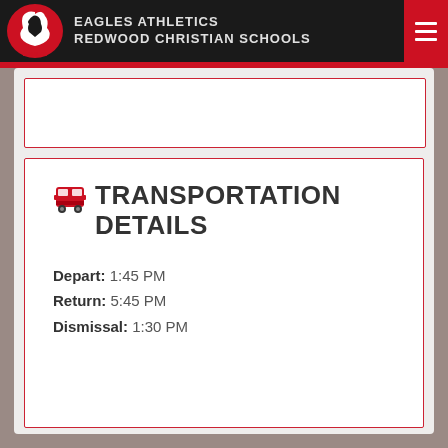EAGLES ATHLETICS
REDWOOD CHRISTIAN SCHOOLS
TRANSPORTATION DETAILS
Depart: 1:45 PM
Return: 5:45 PM
Dismissal: 1:30 PM